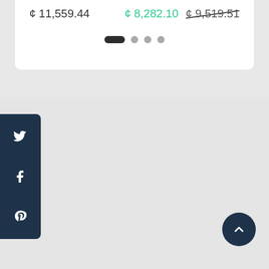¢ 11,559.44   ¢ 8,282.10  ¢ 9,519.51
[Figure (screenshot): Pagination dots: one active elongated pill and three inactive circular dots]
[Figure (infographic): Social media sidebar with Twitter, Facebook, and Pinterest icons on dark navy background]
[Figure (infographic): Back to top button: dark navy circle with upward chevron arrow]